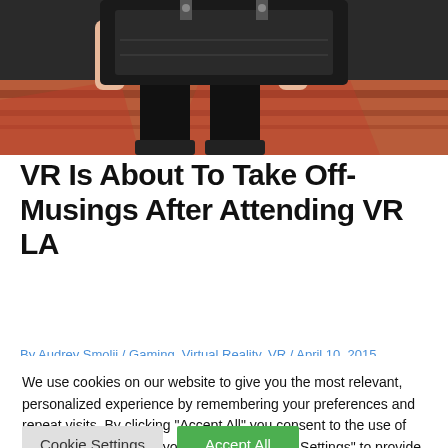[Figure (photo): Person holding a large black bag or camera equipment, standing on a patterned carpet/rug area]
VR Is About To Take Off- Musings After Attending VR LA
By Audrey Smolij / Gaming, Virtual Reality, VR / April 10, 2015
We use cookies on our website to give you the most relevant, personalized experience by remembering your preferences and repeat visits. By clicking "Accept All" you consent to the use of the cookies. However, you may visit "Cookie Settings" to provide a controlled consent. To find out more about the cookies we use, see our Privacy Policy.
Cookie Settings | Accept All